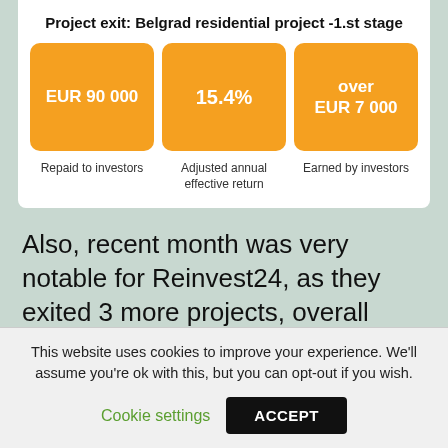Project exit: Belgrad residential project -1.st stage
[Figure (infographic): Three orange metric boxes showing: EUR 90 000 (Repaid to investors), 15.4% (Adjusted annual effective return), over EUR 7 000 (Earned by investors)]
Also, recent month was very notable for Reinvest24, as they exited 3 more projects, overall repaying back to investors more that 1.1m EUR and strengthened platform’s financial stability be increasing the share
This website uses cookies to improve your experience. We'll assume you're ok with this, but you can opt-out if you wish.
Cookie settings   ACCEPT